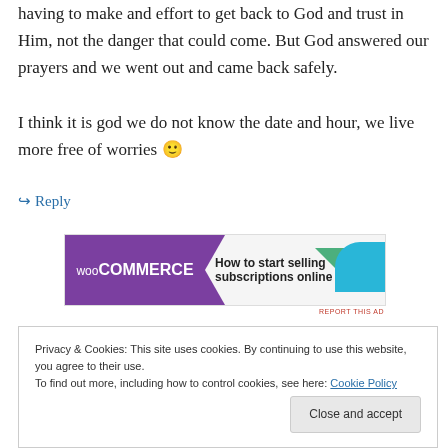having to make and effort to get back to God and trust in Him, not the danger that could come. But God answered our prayers and we went out and came back safely.
I think it is god we do not know the date and hour, we live more free of worries 🙂
↪ Reply
[Figure (other): WooCommerce advertisement banner: 'How to start selling subscriptions online']
REPORT THIS AD
Privacy & Cookies: This site uses cookies. By continuing to use this website, you agree to their use.
To find out more, including how to control cookies, see here: Cookie Policy
Close and accept